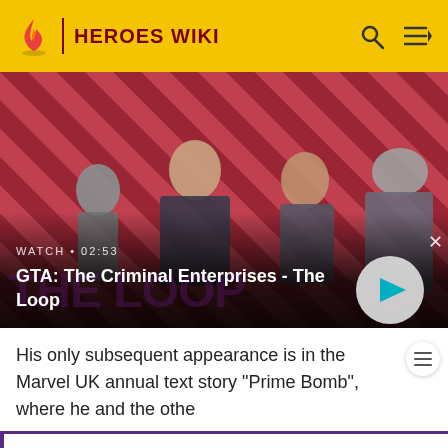HEROES WIKI
[Figure (screenshot): Video banner showing GTA: The Criminal Enterprises - The Loop with four characters on a diagonal striped background. Shows WATCH • 02:53 label and a play button.]
GTA: The Criminal Enterprises - The Loop
His only subsequent appearance is in the Marvel UK annual text story "Prime Bomb", where he and the othe
-Welcome to the Hero/Protagonist wiki! If you can help us with this wiki please sign up and help us! Thanks! -M-NUva